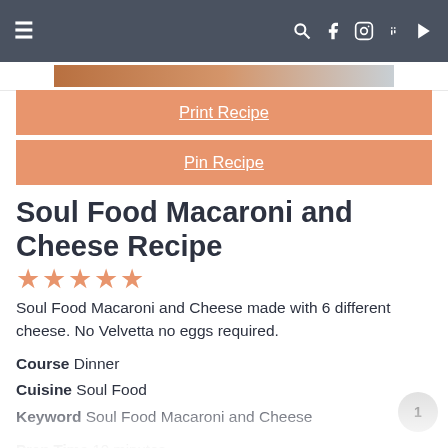≡  🔍 f 📷 p ▶
Print Recipe
Pin Recipe
Soul Food Macaroni and Cheese Recipe
★★★★★
Soul Food Macaroni and Cheese made with 6 different cheese. No Velvetta no eggs required.
Course  Dinner
Cuisine  Soul Food
Keyword  Soul Food Macaroni and Cheese
Prep Time  10 minutes
Cook Time  55 minutes
Total Time  1 hour 5 minutes